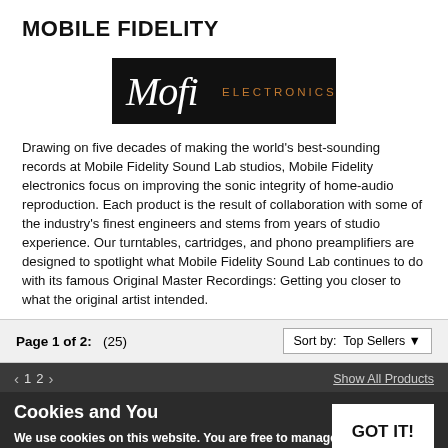MOBILE FIDELITY
[Figure (logo): MoFi Electronics logo — black background with white italic script 'Mofi' and copper/orange 'ELECTRONICS' text]
Drawing on five decades of making the world's best-sounding records at Mobile Fidelity Sound Lab studios, Mobile Fidelity electronics focus on improving the sonic integrity of home-audio reproduction. Each product is the result of collaboration with some of the industry's finest engineers and stems from years of studio experience. Our turntables, cartridges, and phono preamplifiers are designed to spotlight what Mobile Fidelity Sound Lab continues to do with its famous Original Master Recordings: Getting you closer to what the original artist intended.
Page 1 of 2:   (25)   Sort by:  Top Sellers
< 1 2 >  Show All Products
Cookies and You
We use cookies on this website. You are free to manage these via your browser settings at any time. For more about how we use cookies, please see our Privacy Policy
GOT IT!